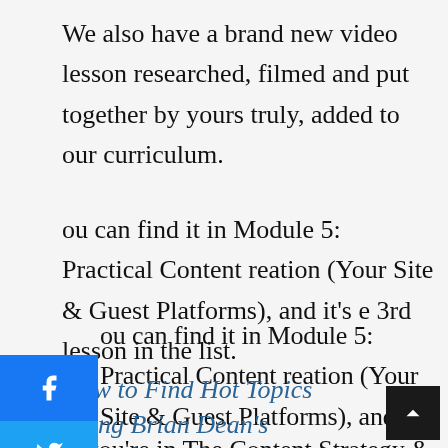We also have a brand new video lesson researched, filmed and put together by yours truly, added to our curriculum.
ou can find it in Module 5: Practical Content reation (Your Site & Guest Platforms), and it's e 3rd lesson in the list.
If you're in The Content Strategy & Marketing Course, click below to go straight to the new lesson in the curriculum:
How to Find Hot Topics Using Brian Dean's